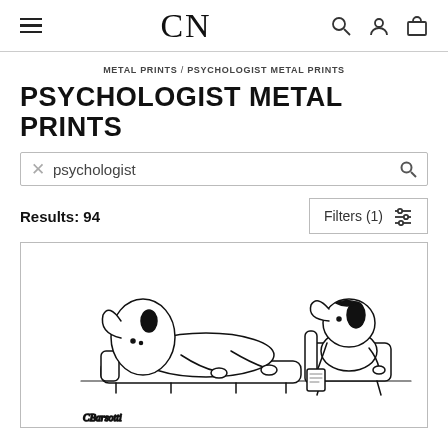CN
METAL PRINTS / PSYCHOLOGIST METAL PRINTS
PSYCHOLOGIST METAL PRINTS
psychologist
Results: 94
Filters (1)
[Figure (illustration): Cartoon line drawing of two dog characters in a therapy session. One dog lies on a couch/chaise as a patient, the other dog sits in a chair taking notes as a therapist. Artist signature 'CBarsotti' visible at bottom left.]